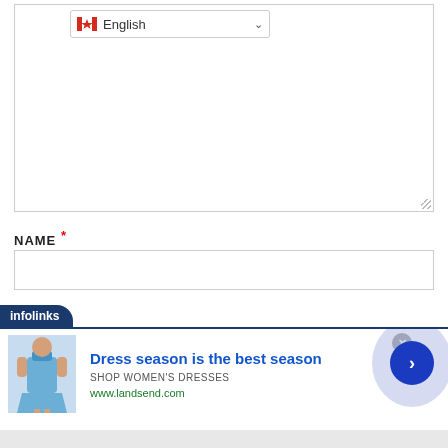[Figure (screenshot): Language selector dropdown showing Canadian flag and 'English' text with chevron]
[Figure (screenshot): Large blank textarea input field with resize handle]
NAME *
[Figure (screenshot): Empty text input field for Name]
[Figure (screenshot): Infolinks advertisement banner: 'Dress season is the best season' with SHOP WOMEN'S DRESSES and www.landsend.com]